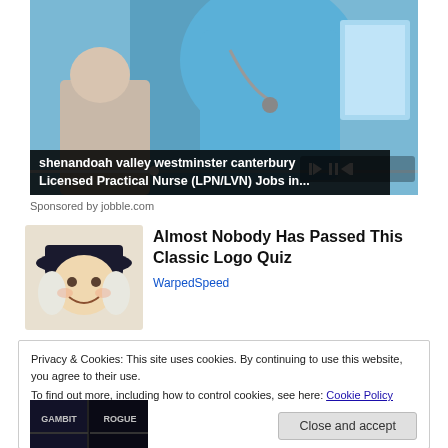[Figure (photo): Video thumbnail showing a nurse in blue scrubs with stethoscope attending to elderly patient, with video player controls and progress bar]
shenandoah valley westminster canterbury Licensed Practical Nurse (LPN/LVN) Jobs in...
Sponsored by jobble.com
[Figure (photo): Advertisement image showing a colonial-style character mascot wearing a dark hat with white wig and smiling face]
Almost Nobody Has Passed This Classic Logo Quiz
WarpedSpeed
Privacy & Cookies: This site uses cookies. By continuing to use this website, you agree to their use.
To find out more, including how to control cookies, see here: Cookie Policy
Close and accept
[Figure (photo): Bottom thumbnail showing dark gaming/entertainment imagery with text GAMBIT and ROGUE]